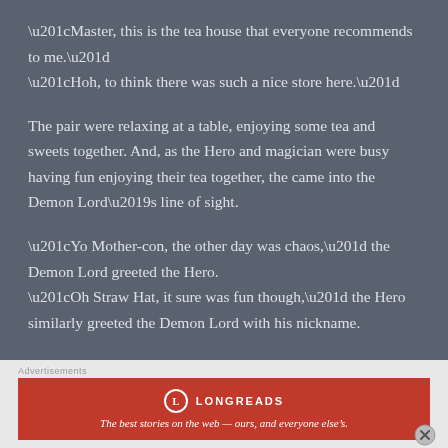“Master, this is the tea house that everyone recommends to me.” “Hoh, to think there was such a nice store here.”

The pair were relaxing at a table, enjoying some tea and sweets together. And, as the Hero and magician were busy having fun enjoying their tea together, the came into the Demon Lord’s line of sight.

“Yo Mother-con, the other day was chaos,” the Demon Lord greeted the Hero.
“Oh Straw Hat, it sure was fun though,” the Hero similarly greeted the Demon Lord with his nickname.
[Figure (other): Longreads advertisement banner. Red background with Longreads logo (circle with L), brand name LONGREADS, and tagline: The best stories on the web — ours, and everyone else's.]